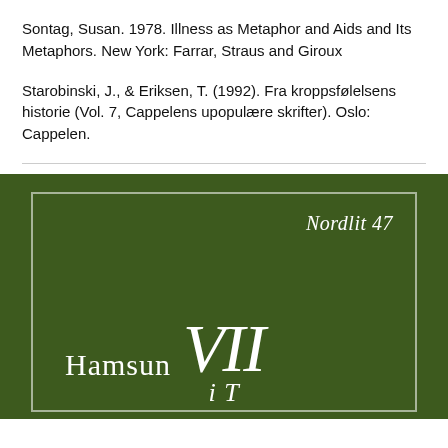Sontag, Susan. 1978. Illness as Metaphor and Aids and Its Metaphors. New York: Farrar, Straus and Giroux
Starobinski, J., & Eriksen, T. (1992). Fra kroppsfølelsens historie (Vol. 7, Cappelens upopulære skrifter). Oslo: Cappelen.
[Figure (illustration): Dark olive green book cover with white border. Top right shows italic text 'Nordlit 47'. Bottom area shows 'Hamsun VII' in large white serif type, with partial text below starting with 'i T...' (truncated at page bottom).]